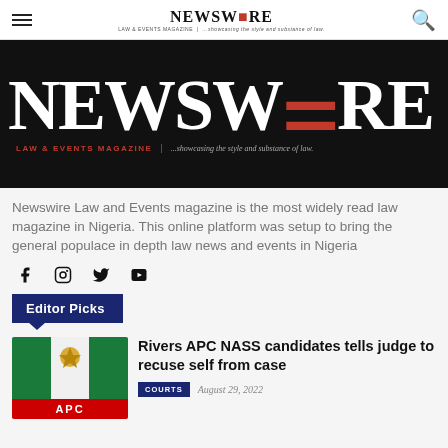NEWSWIRE LAW & EVENTS MAGAZINE | ...showcasing the style and substance of law.
[Figure (logo): Newswire Law & Events Magazine banner logo on black background with large white bold serif text 'NEWSWIRE', red gavel hammer accent, subtitle 'LAW & EVENTS MAGAZINE | ...showcasing the style and substance of law.']
Newswire Law and Events magazine is the most widely read law magazine in Nigeria. This online platform was setup to bring the general populace in depth law news and events in Nigeria
[Figure (infographic): Social media icons row: Facebook, Instagram, Twitter, YouTube]
Editor Picks
[Figure (photo): Photograph of a building with Nigerian flag and APC (All Progressives Congress) party banner in red at the bottom]
Rivers APC NASS candidates tells judge to recuse self from case
COURTS   August 29, 2022